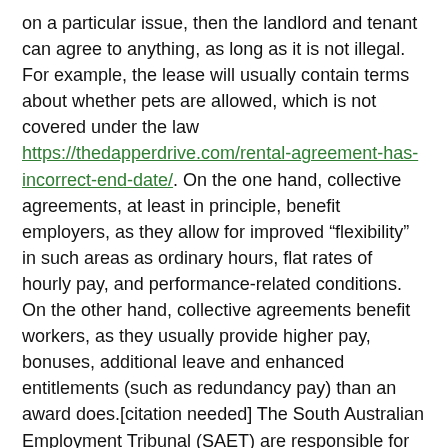on a particular issue, then the landlord and tenant can agree to anything, as long as it is not illegal. For example, the lease will usually contain terms about whether pets are allowed, which is not covered under the law https://thedapperdrive.com/rental-agreement-has-incorrect-end-date/. On the one hand, collective agreements, at least in principle, benefit employers, as they allow for improved “flexibility” in such areas as ordinary hours, flat rates of hourly pay, and performance-related conditions. On the other hand, collective agreements benefit workers, as they usually provide higher pay, bonuses, additional leave and enhanced entitlements (such as redundancy pay) than an award does.[citation needed] The South Australian Employment Tribunal (SAET) are responsible for approving public sector enterprise agreements. Since the Fair Work Act was enacted, parties to Australian federal collective agreements now[update] lodge their agreements with Fair Work Australia for approval (agreement). It has now been two and half years since the Northern Village of Pinehouse (population 1,400) and Kinoosik Metis Local Inc.